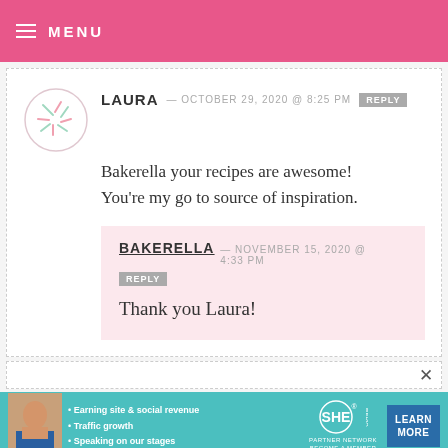MENU
LAURA — OCTOBER 29, 2020 @ 8:25 PM REPLY
Bakerella your recipes are awesome! You're my go to source of inspiration.
BAKERELLA — NOVEMBER 15, 2020 @ 4:33 PM REPLY
Thank you Laura!
[Figure (infographic): SHE Partner Network advertisement banner with photo of woman, bullet points about earning site and social revenue, traffic growth, speaking on our stages, SHE logo, and Learn More button]